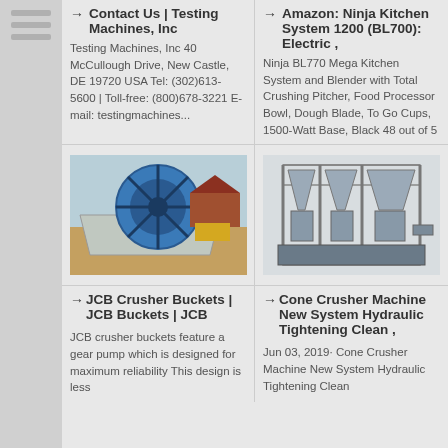[Figure (screenshot): Sidebar with three horizontal lines/bars icon]
Contact Us | Testing Machines, Inc
Testing Machines, Inc 40 McCullough Drive, New Castle, DE 19720 USA Tel: (302)613-5600 | Toll-free: (800)678-3221 E-mail: testingmachines...
Amazon: Ninja Kitchen System 1200 (BL700): Electric ,
Ninja BL770 Mega Kitchen System and Blender with Total Crushing Pitcher, Food Processor Bowl, Dough Blade, To Go Cups, 1500-Watt Base, Black 48 out of 5
[Figure (photo): Blue sand washer machine (large wheel) in outdoor industrial setting]
[Figure (photo): Cone crusher machine with multiple hoppers on blue metal frame]
JCB Crusher Buckets | JCB Buckets | JCB
JCB crusher buckets feature a gear pump which is designed for maximum reliability This design is less
Cone Crusher Machine New System Hydraulic Tightening Clean ,
Jun 03, 2019· Cone Crusher Machine New System Hydraulic Tightening Clean